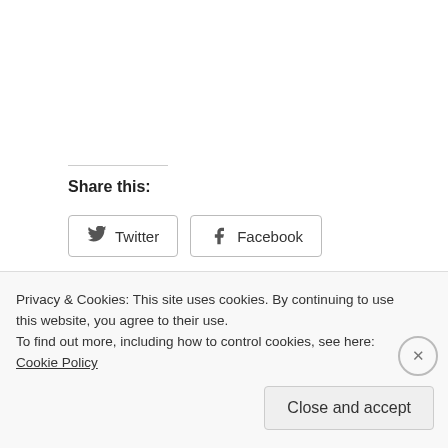Share this:
[Figure (screenshot): Twitter and Facebook share buttons]
Loading...
Life
Privacy & Cookies: This site uses cookies. By continuing to use this website, you agree to their use.
To find out more, including how to control cookies, see here: Cookie Policy
Close and accept